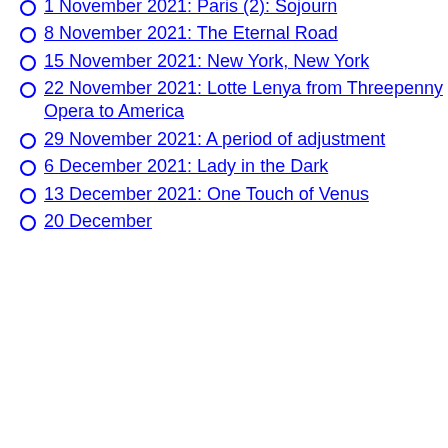shadow puppetry
25 October 2021: Summer 1933
1 November 2021: Paris (2): Sojourn
8 November 2021: The Eternal Road
15 November 2021: New York, New York
22 November 2021: Lotte Lenya from Threepenny Opera to America
29 November 2021: A period of adjustment
6 December 2021: Lady in the Dark
13 December 2021: One Touch of Venus
20 December 2021: ...